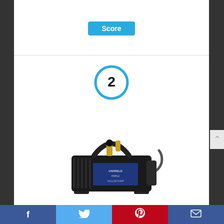[Figure (other): Score button/badge at top of product listing card]
[Figure (other): Rank number 2 inside a cyan circle]
[Figure (photo): Photo of Uniweld HVP12 vacuum pump, a black industrial rotary pump with brass fittings and handle]
Uniweld HVP12 Pump, Vacuum Pump, Rotary
Facebook | Twitter | Pinterest | Email share bar